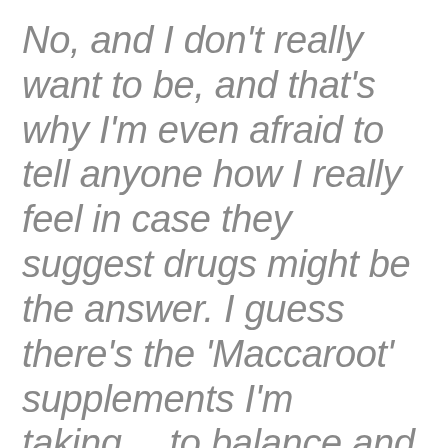No, and I don't really want to be, and that's why I'm even afraid to tell anyone how I really feel in case they suggest drugs might be the answer. I guess there's the 'Maccaroot' supplements I'm taking… to balance and energize me… but I don't